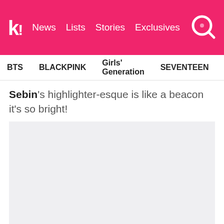k! News Lists Stories Exclusives
BTS  BLACKPINK  Girls' Generation  SEVENTEEN  TWICE
Sebin's highlighter-esque is like a beacon it's so bright!
[Figure (photo): Placeholder image area (light gray background)]
It's a perfect match for his equally brilliant smile!